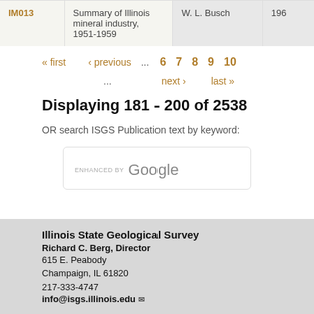| ID | Title | Author | Year |
| --- | --- | --- | --- |
| IM013 | Summary of Illinois mineral industry, 1951-1959 | W. L. Busch | 196 |
« first  ‹ previous  ...  6  7  8  9  10  ...  next ›  last »
Displaying 181 - 200 of 2538
OR search ISGS Publication text by keyword:
[Figure (other): ENHANCED BY Google search box]
Illinois State Geological Survey
Richard C. Berg, Director
615 E. Peabody
Champaign, IL 61820
217-333-4747
info@isgs.illinois.edu